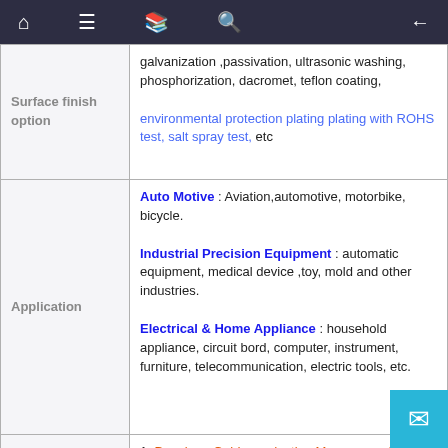Navigation bar with home, menu, book, search icons and back arrow
|  |  |
| --- | --- |
| Surface finish option | galvanization ,passivation, ultrasonic washing, phosphorization, dacromet, teflon coating,

environmental protection plating plating with ROHS test, salt spray test,  etc |
| Application | Auto Motive : Aviation,automotive, motorbike, bicycle.

Industrial Precision Equipment : automatic equipment, medical device ,toy, mold and  other industries.

Electrical & Home Appliance : household appliance, circuit bord, computer, instrument, furniture, telecommunication, electric tools, etc. |
| Advantage | 1. Drawings-Guide production Management among all the trading process.

2. Raw Material ROHS certification

3. Stable Supplying Chain & Sales Scale |